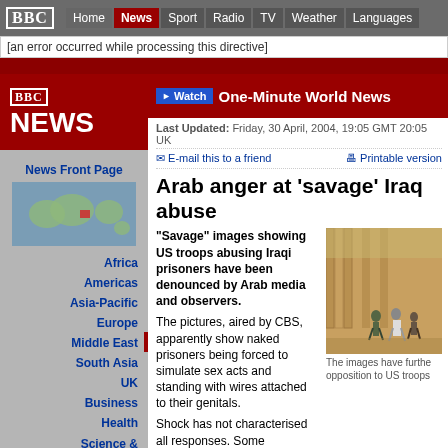BBC | Home | News | Sport | Radio | TV | Weather | Languages
[an error occurred while processing this directive]
[Figure (logo): BBC NEWS logo in white on red background]
Watch One-Minute World News
Last Updated: Friday, 30 April, 2004, 19:05 GMT 20:05 UK
E-mail this to a friend | Printable version
Arab anger at 'savage' Iraq abuse
"Savage" images showing US troops abusing Iraqi prisoners have been denounced by Arab media and observers.
[Figure (photo): People running near concrete barriers in Iraq]
The images have further opposition to US troops
The pictures, aired by CBS, apparently show naked prisoners being forced to simulate sex acts and standing with wires attached to their genitals.
Shock has not characterised all responses. Some commentators professed to be unsur
Qatar-based TV channel Al-Jazeera said the images sh "unethical and inhuman" conduct of American soldiers.